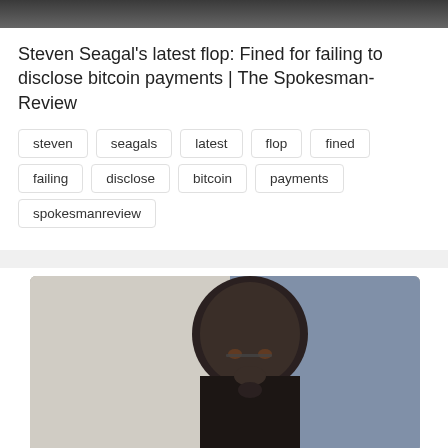[Figure (photo): Partial top photo strip, dark background]
Steven Seagal's latest flop: Fined for failing to disclose bitcoin payments | The Spokesman-Review
steven
seagals
latest
flop
fined
failing
disclose
bitcoin
payments
spokesmanreview
[Figure (photo): Photo of Steven Seagal wearing glasses with dark goatee]